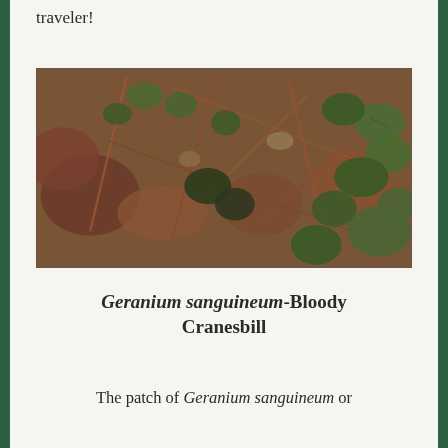traveler!
[Figure (photo): Close-up photograph of Geranium sanguineum (Bloody Cranesbill) plant showing green lobed leaves and reddish-brown dried stems and dead leaves on the ground]
Geranium sanguineum-Bloody Cranesbill
The patch of Geranium sanguineum or